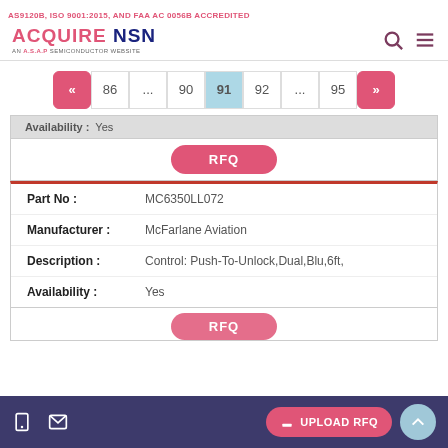AS9120B, ISO 9001:2015, AND FAA AC 0056B ACCREDITED
ACQUIRE NSN — AN A.S.A.P SEMICONDUCTOR WEBSITE
Pagination: « 86 ... 90 91 92 ... 95 »
Availability: Yes
RFQ
| Field | Value |
| --- | --- |
| Part No : | MC6350LL072 |
| Manufacturer : | McFarlane Aviation |
| Description : | Control: Push-To-Unlock,Dual,Blu,6ft, |
| Availability : | Yes |
RFQ
UPLOAD RFQ